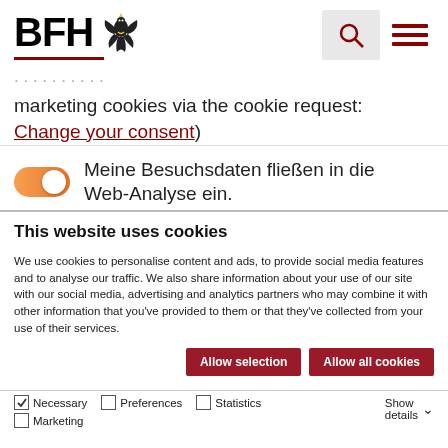[Figure (logo): BFH logo with German federal eagle and red underline, plus search icon and hamburger menu]
marketing cookies via the cookie request: Change your consent)
Meine Besuchsdaten fließen in die Web-Analyse ein.
This website uses cookies
We use cookies to personalise content and ads, to provide social media features and to analyse our traffic. We also share information about your use of our site with our social media, advertising and analytics partners who may combine it with other information that you've provided to them or that they've collected from your use of their services.
Allow selection | Allow all cookies
Necessary | Preferences | Statistics | Marketing | Show details